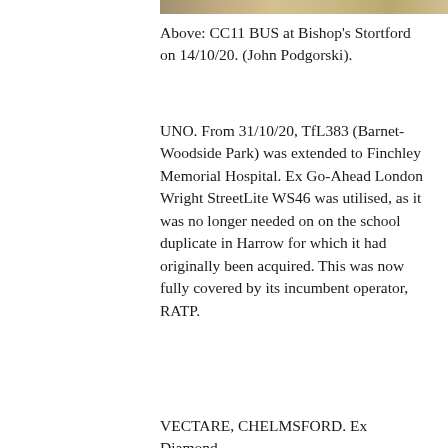[Figure (photo): Partial view of a bus at Bishop's Stortford, cropped at top of page]
Above: CC11 BUS at Bishop's Stortford on 14/10/20. (John Podgorski).
UNO. From 31/10/20, TfL383 (Barnet-Woodside Park) was extended to Finchley Memorial Hospital. Ex Go-Ahead London Wright StreetLite WS46 was utilised, as it was no longer needed on on the school duplicate in Harrow for which it had originally been acquired. This was now fully covered by its incumbent operator, RATP.
VECTARE, CHELMSFORD. Ex Diamond